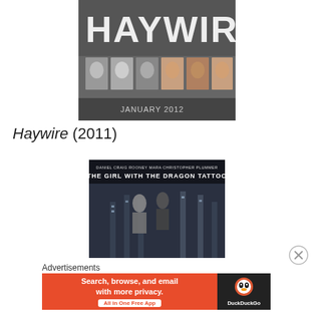[Figure (photo): Haywire movie poster showing cast faces with large text HAYWIRE and JANUARY 2012]
Haywire (2011)
[Figure (photo): The Girl with the Dragon Tattoo movie promotional image showing two figures in dark setting, with title text overlay]
Advertisements
[Figure (screenshot): DuckDuckGo advertisement banner: Search, browse, and email with more privacy. All in One Free App]